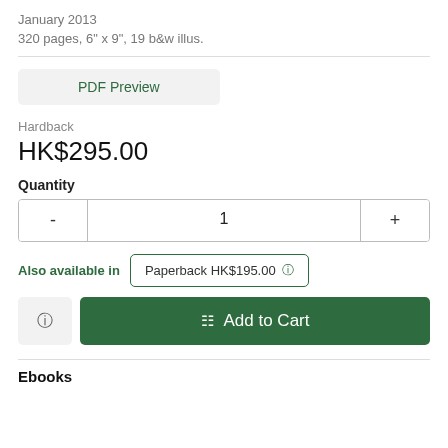January 2013
320 pages, 6" x 9", 19 b&w illus.
PDF Preview
Hardback
HK$295.00
Quantity
1
Also available in  Paperback HK$195.00
Add to Cart
Ebooks